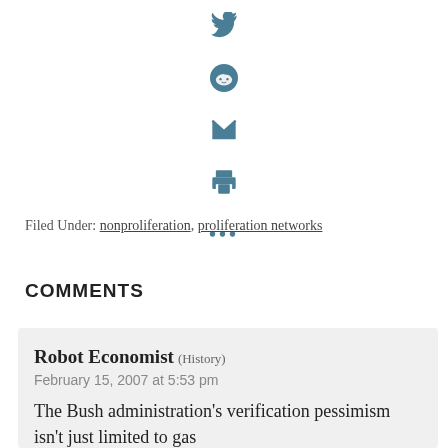[Figure (illustration): Social share icons column: Twitter bird, Reddit alien, Email envelope, Print icon, and three dots (more options)]
Filed Under: nonproliferation, proliferation networks
COMMENTS
Robot Economist (History)
February 15, 2007 at 5:53 pm
The Bush administration's verification pessimism isn't just limited to gas